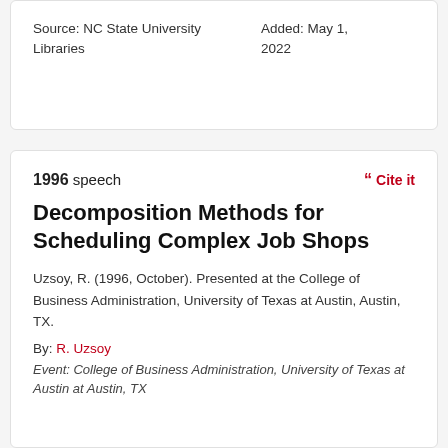Source: NC State University Libraries	Added: May 1, 2022
1996 speech
Cite it
Decomposition Methods for Scheduling Complex Job Shops
Uzsoy, R. (1996, October). Presented at the College of Business Administration, University of Texas at Austin, Austin, TX.
By: R. Uzsoy
Event: College of Business Administration, University of Texas at Austin at Austin, TX